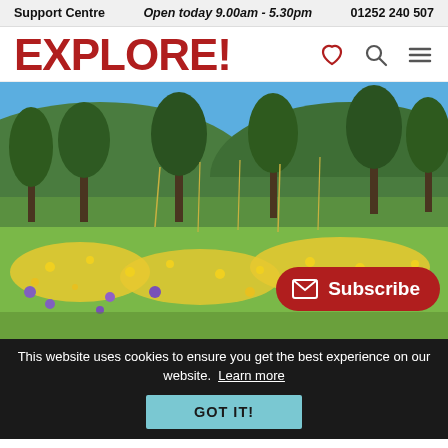Support Centre   Open today 9.00am - 5.30pm   01252 240 507
EXPLORE!
[Figure (photo): Outdoor meadow with yellow and purple wildflowers, green trees and blue sky in background]
Subscribe
This website uses cookies to ensure you get the best experience on our website. Learn more
GOT IT!